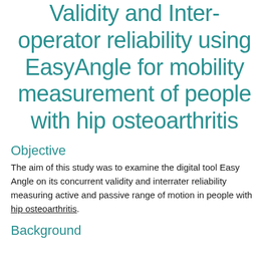Validity and Inter-operator reliability using EasyAngle for mobility measurement of people with hip osteoarthritis
Objective
The aim of this study was to examine the digital tool Easy Angle on its concurrent validity and interrater reliability measuring active and passive range of motion in people with hip osteoarthritis.
Background